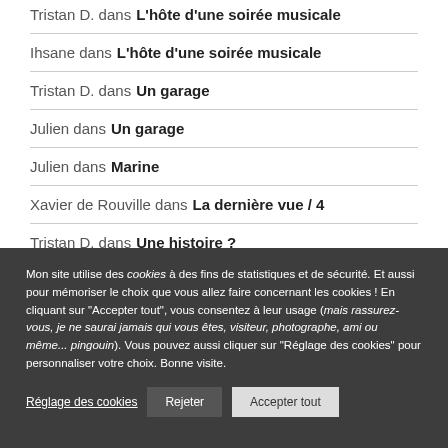Tristan D. dans L'hôte d'une soirée musicale
Ihsane dans L'hôte d'une soirée musicale
Tristan D. dans Un garage
Julien dans Un garage
Julien dans Marine
Xavier de Rouville dans La dernière vue / 4
Tristan D. dans Une histoire ?
Mon site utilise des cookies à des fins de statistiques et de sécurité. Et aussi pour mémoriser le choix que vous allez faire concernant les cookies ! En cliquant sur "Accepter tout", vous consentez à leur usage (mais rassurez-vous, je ne saurai jamais qui vous êtes, visiteur, photographe, ami ou même... pingouin). Vous pouvez aussi cliquer sur "Réglage des cookies" pour personnaliser votre choix. Bonne visite.
Réglage des cookies | Rejeter | Accepter tout